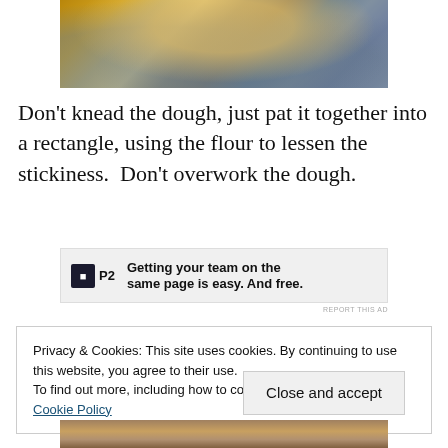[Figure (photo): Close-up photo of dough on a floured surface, crumbly texture with white flour visible against a grey background]
Don't knead the dough, just pat it together into a rectangle, using the flour to lessen the stickiness.  Don't overwork the dough.
[Figure (other): Advertisement banner: P2 logo with text 'Getting your team on the same page is easy. And free.']
REPORT THIS AD
Privacy & Cookies: This site uses cookies. By continuing to use this website, you agree to their use.
To find out more, including how to control cookies, see here: Cookie Policy
[Figure (photo): Bottom portion of a food photo showing baked dough/scone]